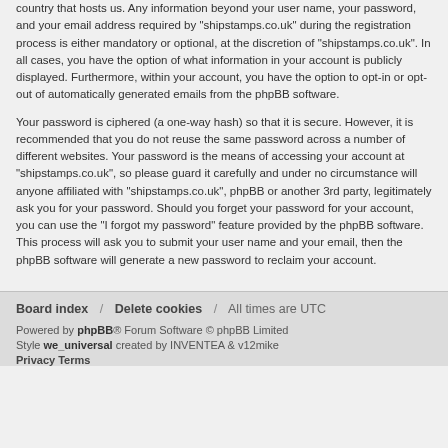country that hosts us. Any information beyond your user name, your password, and your email address required by "shipstamps.co.uk" during the registration process is either mandatory or optional, at the discretion of "shipstamps.co.uk". In all cases, you have the option of what information in your account is publicly displayed. Furthermore, within your account, you have the option to opt-in or opt-out of automatically generated emails from the phpBB software.
Your password is ciphered (a one-way hash) so that it is secure. However, it is recommended that you do not reuse the same password across a number of different websites. Your password is the means of accessing your account at "shipstamps.co.uk", so please guard it carefully and under no circumstance will anyone affiliated with "shipstamps.co.uk", phpBB or another 3rd party, legitimately ask you for your password. Should you forget your password for your account, you can use the "I forgot my password" feature provided by the phpBB software. This process will ask you to submit your user name and your email, then the phpBB software will generate a new password to reclaim your account.
Board index / Delete cookies / All times are UTC
Powered by phpBB® Forum Software © phpBB Limited Style we_universal created by INVENTEA & v12mike Privacy Terms